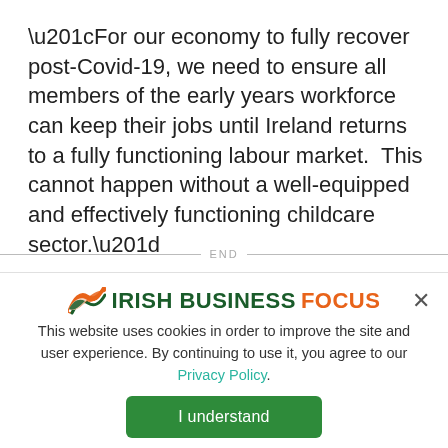“For our economy to fully recover post-Covid-19, we need to ensure all members of the early years workforce can keep their jobs until Ireland returns to a fully functioning labour market.  This cannot happen without a well-equipped and effectively functioning childcare sector.”
END
[Figure (logo): Irish Business Focus logo with tricolor wing icon and brand name]
This website uses cookies in order to improve the site and user experience. By continuing to use it, you agree to our Privacy Policy.